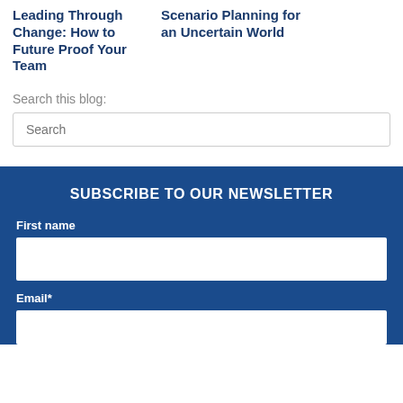Leading Through Change: How to Future Proof Your Team
Scenario Planning for an Uncertain World
Search this blog:
SUBSCRIBE TO OUR NEWSLETTER
First name
Email*